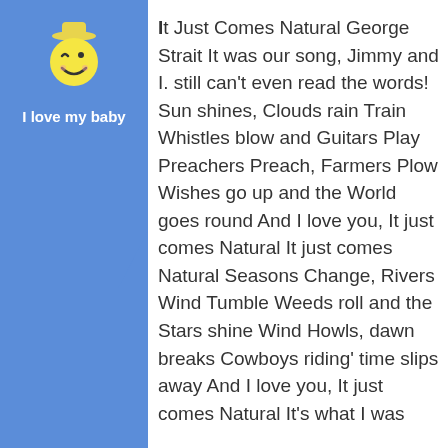[Figure (illustration): Blue panel with a smiley face icon (yellow circle face with chef hat, winking) and text 'I love my baby' in white bold text below it.]
It Just Comes Natural George Strait It was our song, Jimmy and I. still can't even read the words! Sun shines, Clouds rain Train Whistles blow and Guitars Play Preachers Preach, Farmers Plow Wishes go up and the World goes round And I love you, It just comes Natural It just comes Natural Seasons Change, Rivers Wind Tumble Weeds roll and the Stars shine Wind Howls, dawn breaks Cowboys riding' time slips away And I love you, It just comes Natural It's what I was